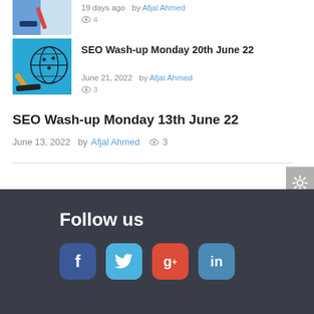[Figure (photo): Partial thumbnail of article with pen/pencil on colorful background]
19 days ago  by Afjal Ahmed  👁 4
[Figure (photo): Thumbnail image: hand with pencil pointing at globe with network diagram on blue background]
SEO Wash-up Monday 20th June 22
June 21, 2022  by Afjal Ahmed  👁 3
SEO Wash-up Monday 13th June 22
June 13, 2022  by Afjal Ahmed  👁 3
Follow us
[Figure (infographic): Social media icons: Facebook (f), Twitter (bird), Google+ (g+), LinkedIn (in)]